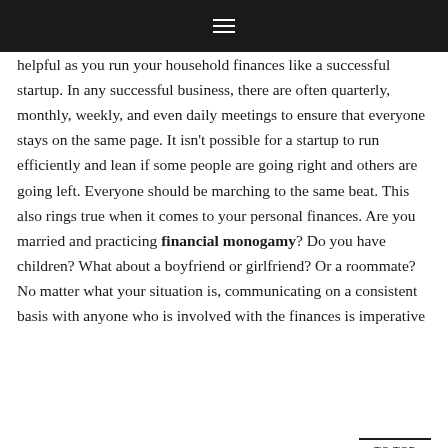≡
helpful as you run your household finances like a successful startup. In any successful business, there are often quarterly, monthly, weekly, and even daily meetings to ensure that everyone stays on the same page. It isn't possible for a startup to run efficiently and lean if some people are going right and others are going left. Everyone should be marching to the same beat. This also rings true when it comes to your personal finances. Are you married and practicing financial monogamy? Do you have children? What about a boyfriend or girlfriend? Or a roommate? No matter what your situation is, communicating on a consistent basis with anyone who is involved with the finances is imperative
TO TOP